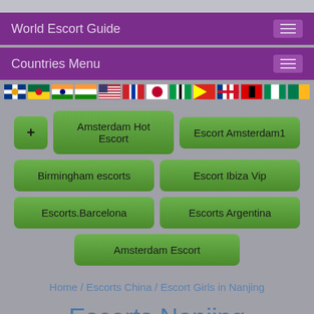World Escort Guide
Countries Menu
[Figure (other): Row of country flag icons]
+ (add button)
Amsterdam Hot Escort
Escort Amsterdam1
Birmingham escorts
Escort Ibiza Vip
Escorts.Barcelona
Escorts Argentina
Amsterdam Escort
Home / Escorts China / Escort Girls in Nanjing
Escorts Nanjing